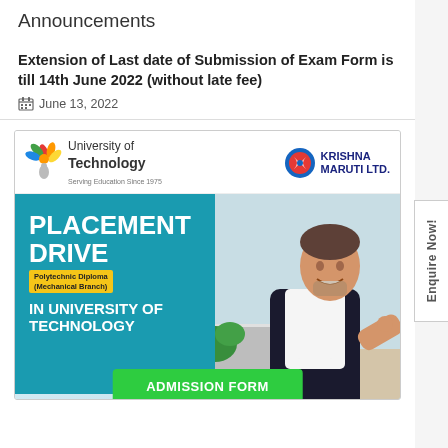Announcements
Extension of Last date of Submission of Exam Form is till 14th June 2022 (without late fee)
June 13, 2022
[Figure (infographic): University of Technology and Krishna Maruti Ltd. placement drive advertisement for Polytechnic Diploma (Mechanical Branch). Shows a man in a suit with PLACEMENT DRIVE heading, IN UNIVERSITY OF TECHNOLOGY text, and an ADMISSION FORM green button.]